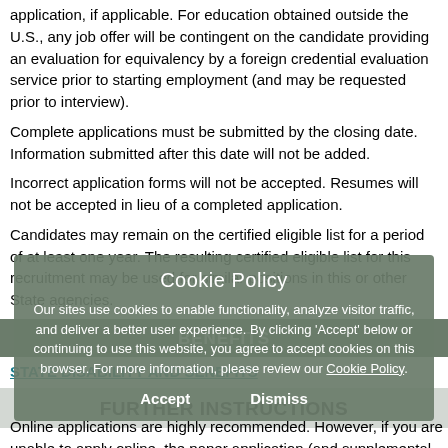application, if applicable. For education obtained outside the U.S., any job offer will be contingent on the candidate providing an evaluation for equivalency by a foreign credential evaluation service prior to starting employment (and may be requested prior to interview).
Complete applications must be submitted by the closing date. Information submitted after this date will not be added.
Incorrect application forms will not be accepted. Resumes will not be accepted in lieu of a completed application.
Candidates may remain on the certified eligible list for a period of at least one year. The resulting certified eligible list for this recruitment may be used for similar positions in this or other State agencies.
BENEFITS
STATE DISABILITY INSURANCE
[Figure (other): Cookie Policy overlay dialog with Accept and Dismiss buttons]
FURTHER INSTRUCTIONS
Online applications are highly recommended. However, if you are unable to apply online, the paper application (and supplemental